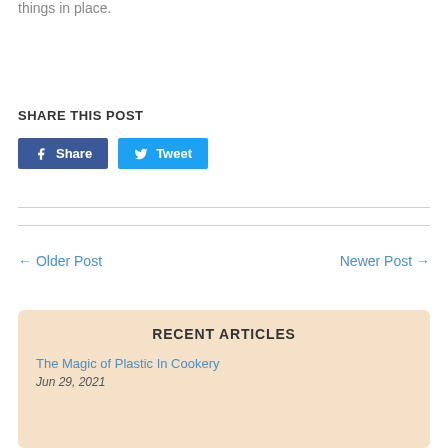things in place.
SHARE THIS POST
[Figure (infographic): Facebook Share button and Twitter Tweet button]
← Older Post
Newer Post →
RECENT ARTICLES
The Magic of Plastic In Cookery
Jun 29, 2021